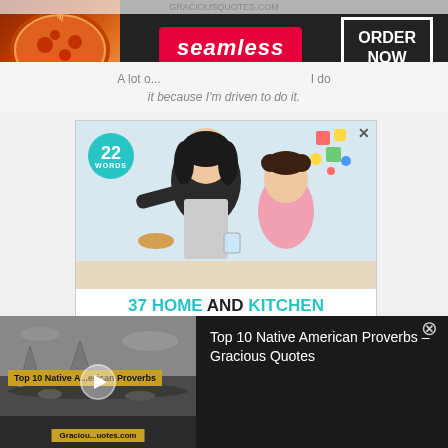[Figure (screenshot): Seamless food delivery banner ad with pizza image on left, Seamless red logo in center, and ORDER NOW button on right]
A lot o... I do it because I'm driven to do it.
[Figure (screenshot): 22 Words advertisement showing mother and daughter cooking together, with text '37 HOME AND KITCHEN ITEMS EVERYONE SHOULD OWN']
[Figure (screenshot): Video player thumbnail showing Top 10 Native American Proverbs from GraciousQuotes.com with play button overlay]
Top 10 Native American Proverbs – Gracious Quotes